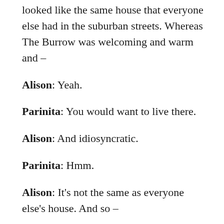looked like the same house that everyone else had in the suburban streets. Whereas The Burrow was welcoming and warm and –
Alison: Yeah.
Parinita: You would want to live there.
Alison: And idiosyncratic.
Parinita: Hmm.
Alison: It's not the same as everyone else's house. And so –